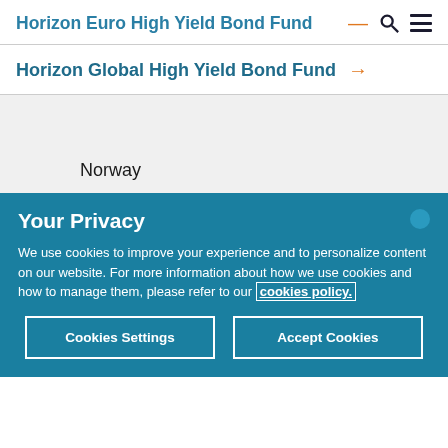Horizon Euro High Yield Bond Fund
Horizon Global High Yield Bond Fund →
Norway
Your Privacy
We use cookies to improve your experience and to personalize content on our website. For more information about how we use cookies and how to manage them, please refer to our cookies policy.
Cookies Settings   Accept Cookies